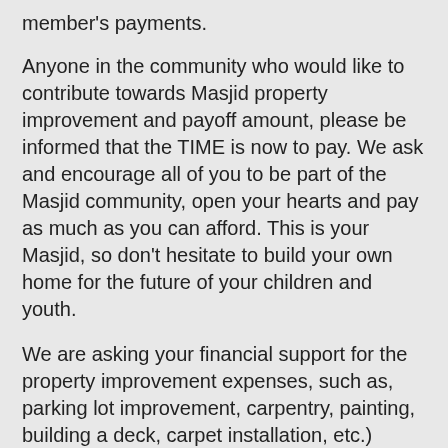member's payments.
Anyone in the community who would like to contribute towards Masjid property improvement and payoff amount, please be informed that the TIME is now to pay. We ask and encourage all of you to be part of the Masjid community, open your hearts and pay as much as you can afford. This is your Masjid, so don't hesitate to build your own home for the future of your children and youth.
We are asking your financial support for the property improvement expenses, such as, parking lot improvement, carpentry, painting, building a deck, carpet installation, etc.)
This property is perfect for our use now and having large enough land (2.3 acres), this property has the potential to be utilized for a future state of the art Masjid. Insha'Allah